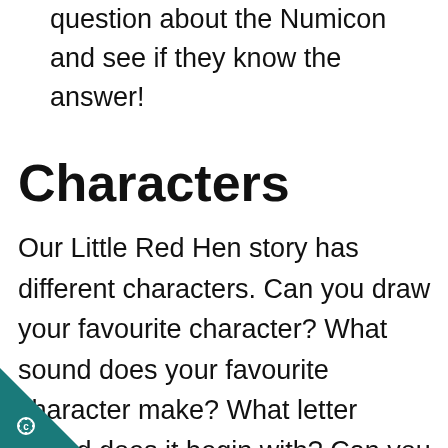question about the Numicon and see if they know the answer!
Characters
Our Little Red Hen story has different characters. Can you draw your favourite character? What sound does your favourite character make? What letter sound does it begin with? Can you colour it in the correct colour? We
[Figure (logo): Dark triangular corner badge with a white gear/star icon and letter C]